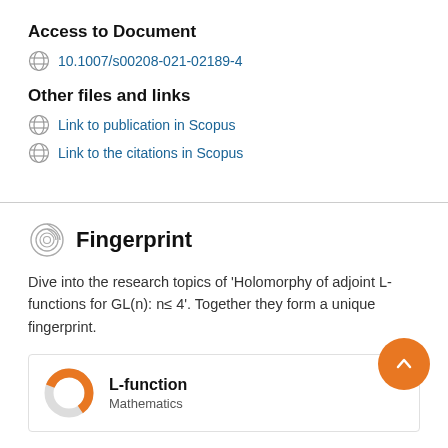Access to Document
10.1007/s00208-021-02189-4
Other files and links
Link to publication in Scopus
Link to the citations in Scopus
Fingerprint
Dive into the research topics of 'Holomorphy of adjoint L-functions for GL(n): n≤ 4'. Together they form a unique fingerprint.
L-function
Mathematics